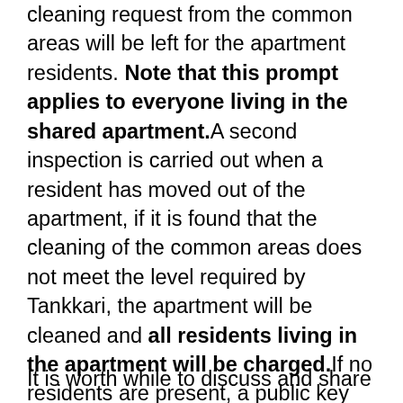cleaning request from the common areas will be left for the apartment residents. Note that this prompt applies to everyone living in the shared apartment.A second inspection is carried out when a resident has moved out of the apartment, if it is found that the cleaning of the common areas does not meet the level required by Tankkari, the apartment will be cleaned and all residents living in the apartment will be charged.If no residents are present, a public key will be used.
It is worth while to discuss and share